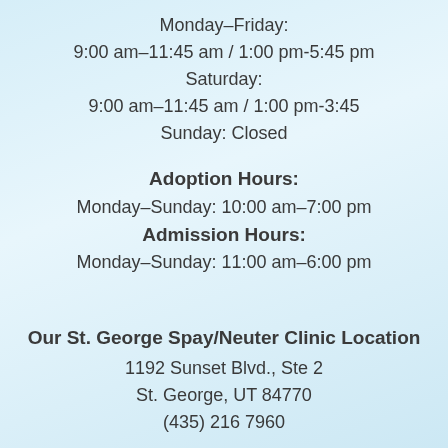Monday–Friday:
9:00 am–11:45 am / 1:00 pm-5:45 pm
Saturday:
9:00 am–11:45 am / 1:00 pm-3:45
Sunday: Closed
Adoption Hours:
Monday–Sunday: 10:00 am–7:00 pm
Admission Hours:
Monday–Sunday: 11:00 am–6:00 pm
Our St. George Spay/Neuter Clinic Location
1192 Sunset Blvd., Ste 2
St. George, UT 84770
(435) 216 7960
Clinic Hours: